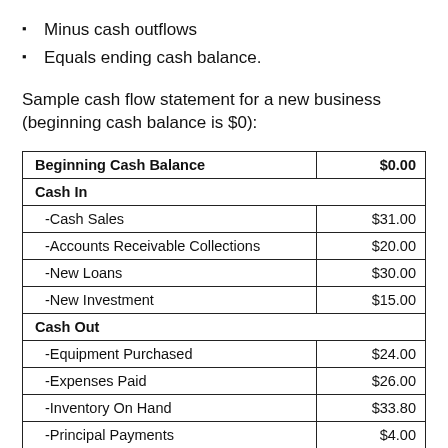Minus cash outflows
Equals ending cash balance.
Sample cash flow statement for a new business (beginning cash balance is $0):
|  |  |
| --- | --- |
| Beginning Cash Balance | $0.00 |
| Cash In |  |
| -Cash Sales | $31.00 |
| -Accounts Receivable Collections | $20.00 |
| -New Loans | $30.00 |
| -New Investment | $15.00 |
| Cash Out |  |
| -Equipment Purchased | $24.00 |
| -Expenses Paid | $26.00 |
| -Inventory On Hand | $33.80 |
| -Principal Payments | $4.00 |